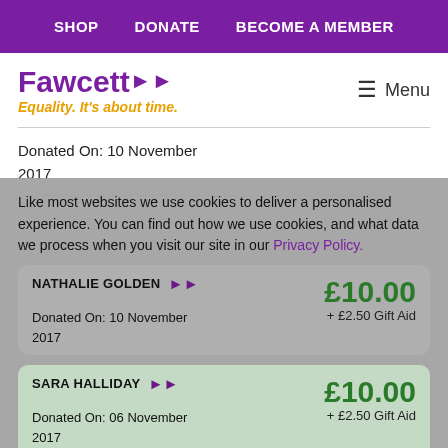SHOP   DONATE   BECOME A MEMBER
[Figure (logo): Fawcett Society logo with purple text 'Fawcett' with double arrow, and orange italic tagline 'Equality. It's about time.']
≡ Menu
Donated On: 10 November 2017
Like most websites we use cookies to deliver a personalised experience. You can find out how we use cookies, and what data we process when you visit our site in our Privacy Policy.
NATHALIE GOLDEN
Donated On: 10 November 2017
£10.00
+ £2.50 Gift Aid
SARA HALLIDAY
Donated On: 06 November 2017
£10.00
+ £2.50 Gift Aid
Accept Cookies